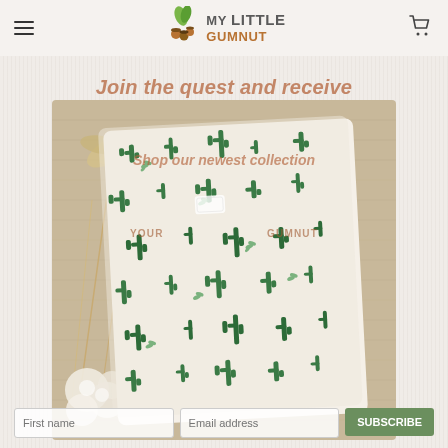MY LITTLE GUMNUT
Join the quest and receive
Shop our newest collection
YOUR ... GUMNUT
[Figure (photo): A folded fabric item with green cactus pattern on a light beige background, surrounded by dried flowers on the left side]